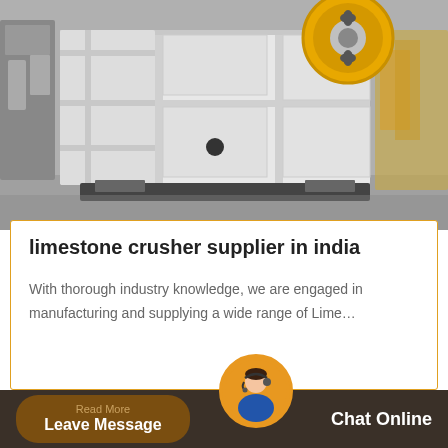[Figure (photo): Industrial jaw crusher machine, white body with yellow flywheel, photographed in a factory/warehouse setting. Black and white background with yellow accent wheel on top right.]
limestone crusher supplier in india
With thorough industry knowledge, we are engaged in manufacturing and supplying a wide range of Lime…
Read More  Leave Message  Chat Online